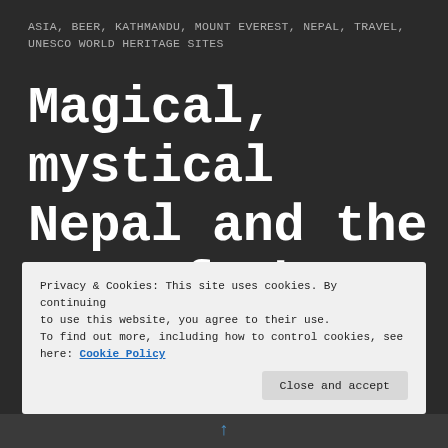ASIA, BEER, KATHMANDU, MOUNT EVEREST, NEPAL, TRAVEL, UNESCO WORLD HERITAGE SITES
Magical, mystical Nepal and the Top of The World: Mount Everest.
Privacy & Cookies: This site uses cookies. By continuing to use this website, you agree to their use. To find out more, including how to control cookies, see here: Cookie Policy
Close and accept